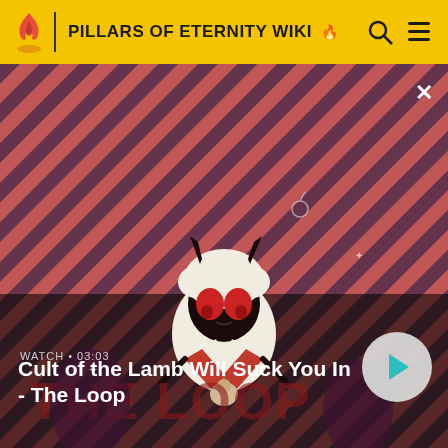PILLARS OF ETERNITY WIKI
[Figure (screenshot): Video thumbnail for 'Cult of the Lamb Will Suck You In - The Loop' showing an animated lamb character with devil horns and red eyes against a red and dark purple diagonal striped background. WATCH • 03:03 label visible.]
Cult of the Lamb Will Suck You In - The Loop
construction of several temporary settlements, and the